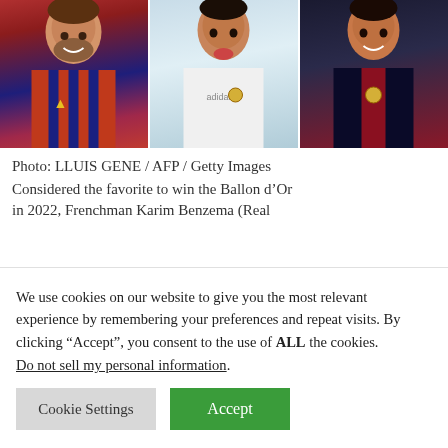[Figure (photo): Three football players side by side: Lionel Messi in FC Barcelona red-blue striped jersey (left), Cristiano Ronaldo in Real Madrid white jersey sticking tongue out (center), Neymar in PSG dark navy jersey (right)]
Photo: LLUIS GENE / AFP / Getty Images
Considered the favorite to win the Ballon d’Or in 2022, Frenchman Karim Benzema (Real...
We use cookies on our website to give you the most relevant experience by remembering your preferences and repeat visits. By clicking “Accept”, you consent to the use of ALL the cookies. Do not sell my personal information.